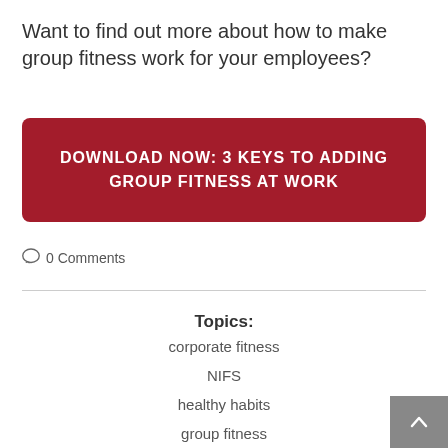Want to find out more about how to make group fitness work for your employees?
DOWNLOAD NOW: 3 KEYS TO ADDING GROUP FITNESS AT WORK
0 Comments
Topics:
corporate fitness
NIFS
healthy habits
group fitness